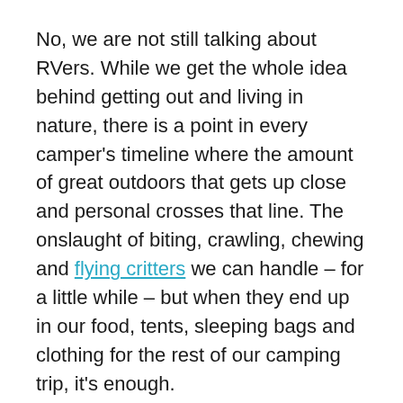No, we are not still talking about RVers. While we get the whole idea behind getting out and living in nature, there is a point in every camper's timeline where the amount of great outdoors that gets up close and personal crosses that line. The onslaught of biting, crawling, chewing and flying critters we can handle – for a little while – but when they end up in our food, tents, sleeping bags and clothing for the rest of our camping trip, it's enough.
3 – Fees That Magically Appear Out Of Nowhere